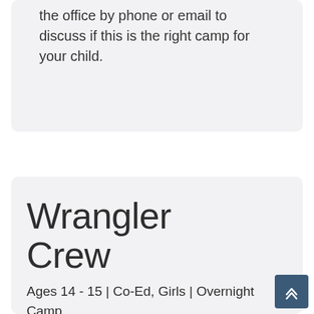the office by phone or email to discuss if this is the right camp for your child.
Wrangler Crew
Ages 14 - 15 | Co-Ed, Girls | Overnight Camp
The Wrangler Crew program offers youth ages 14 to 15 a unique opportunity to be a camper and experience the barn from a whole new perspective. This unique program is